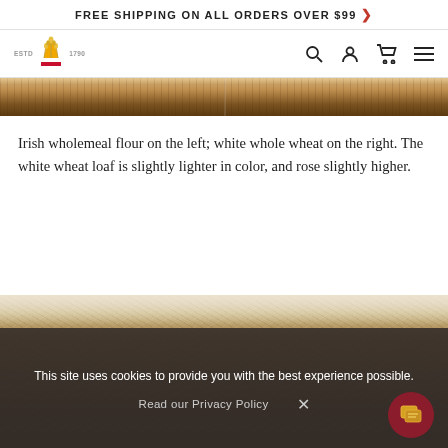FREE SHIPPING ON ALL ORDERS OVER $99 >
[Figure (logo): King Arthur Baking Company logo — crown/wheat icon with ESTD 1790 text]
[Figure (photo): Close-up photo of bread crusts showing two loaves side by side — Irish wholemeal on left, white whole wheat on right]
Irish wholemeal flour on the left; white whole wheat on the right. The white wheat loaf is slightly lighter in color, and rose slightly higher.
[Figure (photo): Close-up photo of grainy bread or grain texture, partially overlaid by cookie consent banner]
This site uses cookies to provide you with the best experience possible.
Read our Privacy Policy  ×